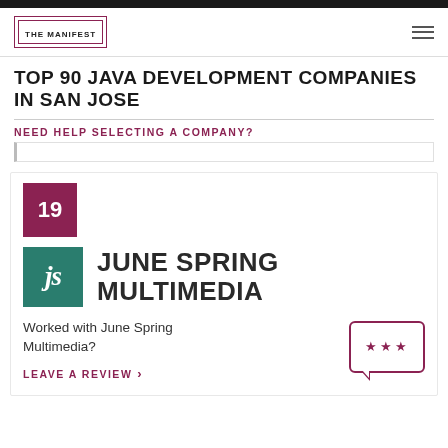THE MANIFEST
TOP 90 JAVA DEVELOPMENT COMPANIES IN SAN JOSE
NEED HELP SELECTING A COMPANY?
19
[Figure (logo): June Spring Multimedia company logo - teal square with white italic 'js' text]
JUNE SPRING MULTIMEDIA
Worked with June Spring Multimedia?
LEAVE A REVIEW >